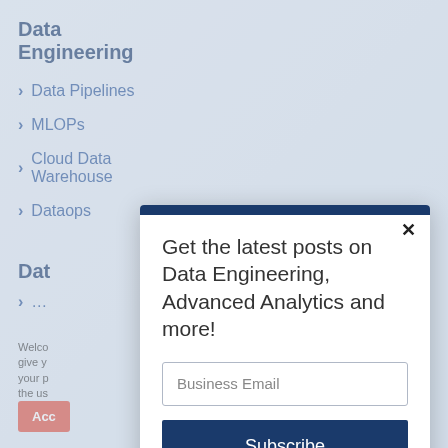Data Engineering
Data Pipelines
MLOPs
Cloud Data Warehouse
Dataops
Dat…
…
Welco… give y… your p… the us… intere… our Co…
Get the latest posts on Data Engineering, Advanced Analytics and more!
Business Email
Subscribe